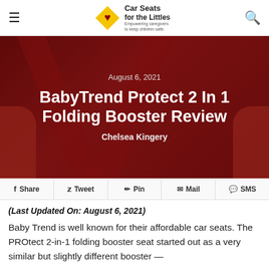Car Seats for the Littles — Empowering caregivers to keep children safe.
[Figure (illustration): Hero image of a child in a red car seat with seatbelt straps, overlaid with dark red tint. Shows date August 6, 2021, article title BabyTrend Protect 2 In 1 Folding Booster Review, and author Chelsea Kingery.]
August 6, 2021
BabyTrend Protect 2 In 1 Folding Booster Review
Chelsea Kingery
Share  Tweet  Pin  Mail  SMS
(Last Updated On: August 6, 2021)
Baby Trend is well known for their affordable car seats. The PROtect 2-in-1 folding booster seat started out as a very similar but slightly different booster —